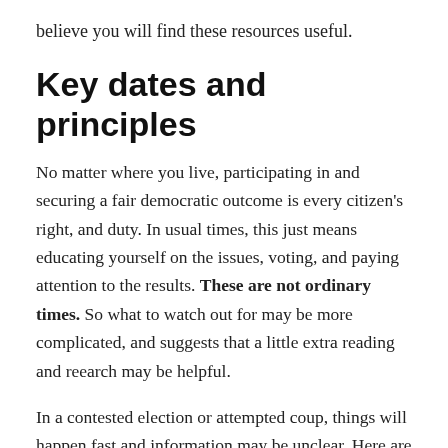believe you will find these resources useful.
Key dates and principles
No matter where you live, participating in and securing a fair democratic outcome is every citizen's right, and duty. In usual times, this just means educating yourself on the issues, voting, and paying attention to the results. These are not ordinary times. So what to watch out for may be more complicated, and suggests that a little extra reading and reearch may be helpful.
In a contested election or attempted coup, things will happen fast and information may be unclear. Here are a few key dates and principles to keep in mind. For a